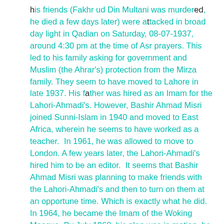his friends (Fakhr ud Din Multani was murdered, he died a few days later) were attacked in broad day light in Qadian on Saturday, 08-07-1937, around 4:30 pm at the time of Asr prayers. This led to his family asking for government and Muslim (the Ahrar's) protection from the Mirza family. They seem to have moved to Lahore in late 1937. His father was hired as an Imam for the Lahori-Ahmadi's. However, Bashir Ahmad Misri joined Sunni-Islam in 1940 and moved to East Africa, wherein he seems to have worked as a teacher.  In 1961, he was allowed to move to London. A few years later, the Lahori-Ahmadi's hired him to be an editor.  It seems that Bashir Ahmad Misri was planning to make friends with the Lahori-Ahmadi's and then to turn on them at an opportune time. Which is exactly what he did.  In 1964, he became the Imam of the Woking Mosque. By July 1968, his plan was in motion, he organized the local Muslim's and wrestled control of the mosque from the Lahori-Ahmadi's to the local Muslim scholars. He then left and went on a tour. His